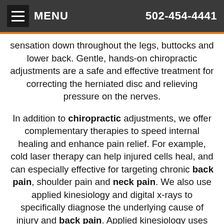MENU   502-454-4441
sensation down throughout the legs, buttocks and lower back. Gentle, hands-on chiropractic adjustments are a safe and effective treatment for correcting the herniated disc and relieving pressure on the nerves.
In addition to chiropractic adjustments, we offer complementary therapies to speed internal healing and enhance pain relief. For example, cold laser therapy can help injured cells heal, and can especially effective for targeting chronic back pain, shoulder pain and neck pain. We also use applied kinesiology and digital x-rays to specifically diagnose the underlying cause of injury and back pain. Applied kinesiology uses bioenergetics feedback to pinpoint the causes of pain within the body. By correctly determining the cause, we can create customized treatment plans tailored specifically for your unique wellness needs.
Unfortunately, neck pain and back pain will not heal itself. Without proper treatment, patients will continue